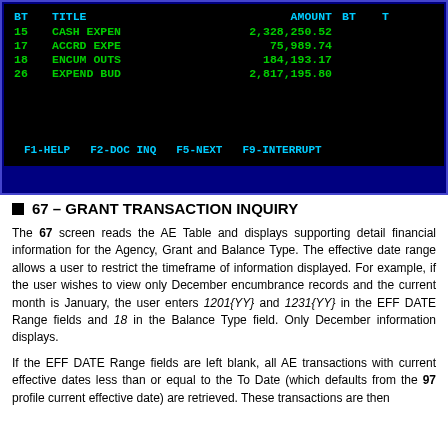[Figure (screenshot): Terminal screen showing budget type data with columns BT, TITLE, AMOUNT, BT. Rows: 15 CASH EXPEN 2,328,250.52 / 17 ACCRD EXPE 75,989.74 / 18 ENCUM OUTS 184,193.17 / 26 EXPEND BUD 2,817,195.80. Footer shows F1-HELP F2-DOC INQ F5-NEXT F9-INTERRUPT]
67 – GRANT TRANSACTION INQUIRY
The 67 screen reads the AE Table and displays supporting detail financial information for the Agency, Grant and Balance Type. The effective date range allows a user to restrict the timeframe of information displayed. For example, if the user wishes to view only December encumbrance records and the current month is January, the user enters 1201{YY} and 1231{YY} in the EFF DATE Range fields and 18 in the Balance Type field. Only December information displays.
If the EFF DATE Range fields are left blank, all AE transactions with current effective dates less than or equal to the To Date (which defaults from the 97 profile current effective date) are retrieved. These transactions are then